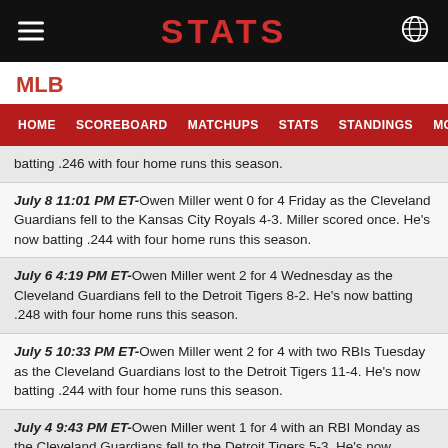STATS
MLB
HOME  SCOREBOARD  MATCHUPS  STATS  STANDINGS  MORE...
batting .246 with four home runs this season.
July 8 11:01 PM ET-Owen Miller went 0 for 4 Friday as the Cleveland Guardians fell to the Kansas City Royals 4-3. Miller scored once. He's now batting .244 with four home runs this season.
July 6 4:19 PM ET-Owen Miller went 2 for 4 Wednesday as the Cleveland Guardians fell to the Detroit Tigers 8-2. He's now batting .248 with four home runs this season.
July 5 10:33 PM ET-Owen Miller went 2 for 4 with two RBIs Tuesday as the Cleveland Guardians lost to the Detroit Tigers 11-4. He's now batting .244 with four home runs this season.
July 4 9:43 PM ET-Owen Miller went 1 for 4 with an RBI Monday as the Cleveland Guardians fell to the Detroit Tigers 5-3. He's now batting .240 with four home runs this season.
July 4 4:10 PM ET-Owen Miller went 0 for 1 Monday as the Cleveland